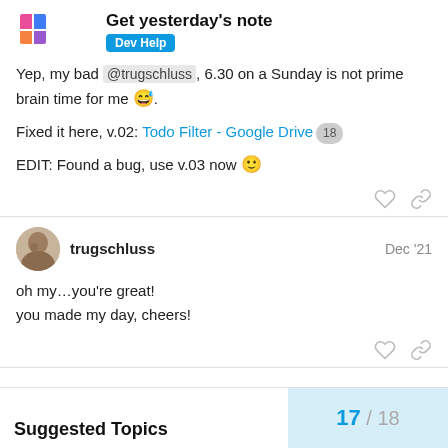Get yesterday's note — Dev Help
Yep, my bad @trugschluss, 6.30 on a Sunday is not prime brain time for me 😅.
Fixed it here, v.02: Todo Filter - Google Drive 18
EDIT: Found a bug, use v.03 now 🙂
trugschluss — Dec '21
oh my…you're great!
you made my day, cheers!
17 / 18
Suggested Topics